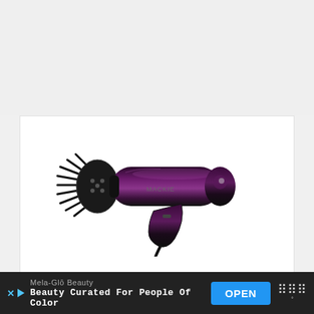[Figure (photo): A black CHI Touch 2 hair dryer with diffuser attachment, photographed on a white background, oriented horizontally with the diffuser on the left and the handle pointing down-right.]
Chi Touch 2
Mela-Glō Beauty
Beauty Curated For People Of Color
OPEN